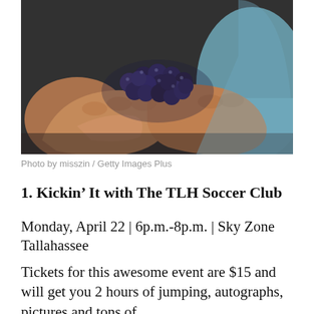[Figure (photo): Close-up photograph of two hands cupping a pile of fresh blueberries, person wearing a light blue shirt, dark background]
Photo by misszin / Getty Images Plus
1. Kickin’ It with The TLH Soccer Club
Monday, April 22 | 6p.m.-8p.m. | Sky Zone Tallahassee
Tickets for this awesome event are $15 and will get you 2 hours of jumping, autographs, pictures and tons of